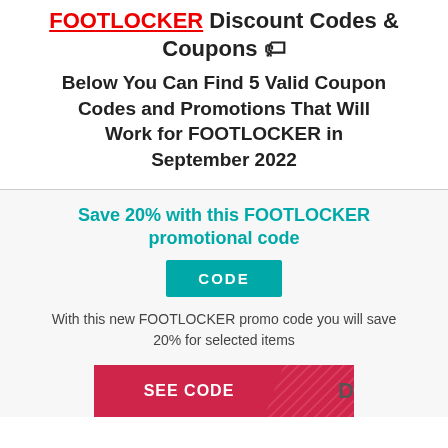FOOTLOCKER Discount Codes & Coupons 🏷 Below You Can Find 5 Valid Coupon Codes and Promotions That Will Work for FOOTLOCKER in September 2022
Save 20% with this FOOTLOCKER promotional code
CODE
With this new FOOTLOCKER promo code you will save 20% for selected items
SEE CODE